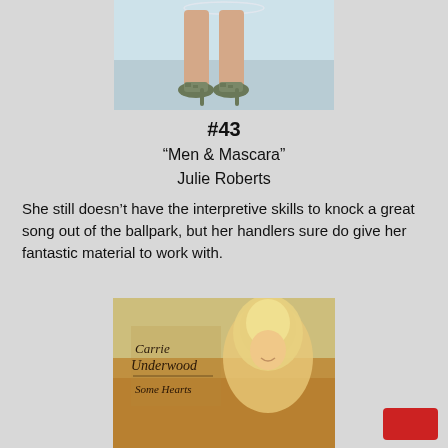[Figure (photo): Album cover showing legs wearing high heels with a light blue background]
#43
“Men & Mascara”
Julie Roberts
She still doesn’t have the interpretive skills to knock a great song out of the ballpark, but her handlers sure do give her fantastic material to work with.
[Figure (photo): Carrie Underwood 'Some Hearts' album cover showing blonde woman in outdoor field setting]